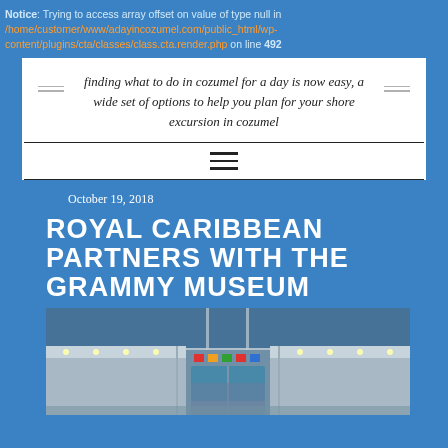Notice: Trying to access array offset on value of type null in /home/customer/www/adayincozumel.com/public_html/wp-content/plugins/cta/classes/class.cta.render.php on line 492
finding what to do in cozumel for a day is now easy, a wide set of options to help you plan for your shore excursion in cozumel
[Figure (other): Hamburger menu icon (three horizontal lines)]
October 19, 2018
ROYAL CARIBBEAN PARTNERS WITH THE GRAMMY MUSEUM
[Figure (photo): Aerial view of a Royal Caribbean cruise ship deck with lights at dusk, showing the pool area and ship structure from above]